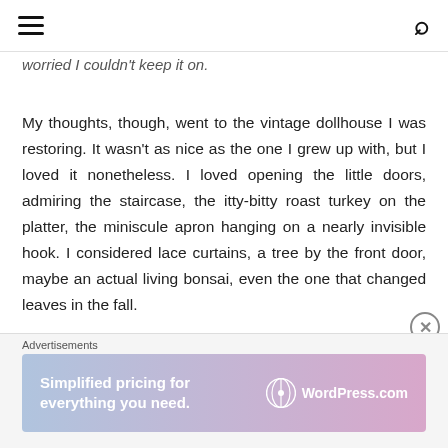[hamburger menu] [search icon]
worried I couldn't keep it on.
My thoughts, though, went to the vintage dollhouse I was restoring. It wasn't as nice as the one I grew up with, but I loved it nonetheless. I loved opening the little doors, admiring the staircase, the itty-bitty roast turkey on the platter, the miniscule apron hanging on a nearly invisible hook. I considered lace curtains, a tree by the front door, maybe an actual living bonsai, even the one that changed leaves in the fall.
When I got home that night, I couldn't see my husband
Advertisements
[Figure (other): WordPress.com advertisement banner: 'Simplified pricing for everything you need.' with WordPress.com logo]